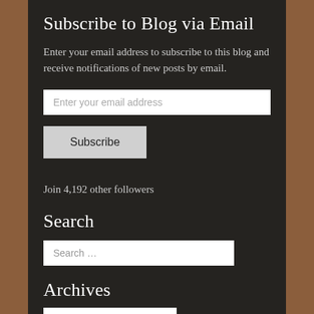Subscribe to Blog via Email
Enter your email address to subscribe to this blog and receive notifications of new posts by email.
Enter your email address
Subscribe
Join 4,192 other followers
Search
Search …
Archives